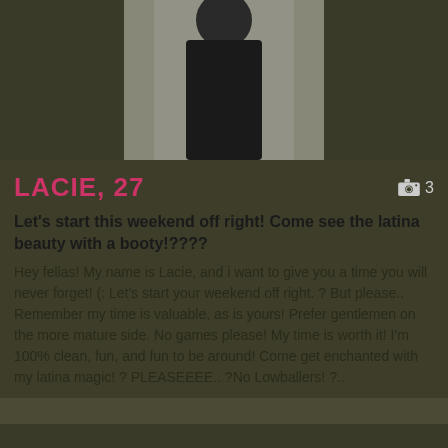[Figure (photo): Partial photo of a person wearing dark clothing, cropped to show torso area against a light background]
LACIE, 27
Let's start this weekend off right! Come see the latina beauty with a booty!????
Hey fellas! My name is Lacie, and i want to give you a time you will never forget! (: Let's start your weekend off right. ? But please.. Remember my time is valuable, as is yours! Prefer gentlemen on the more mature side. No games please! My time is worth it! I'm 100% clean, fun, and fun to be around! Come get enchanted with my latina magic! ? PLEASEEEE.. ?No Lowballers! ?..